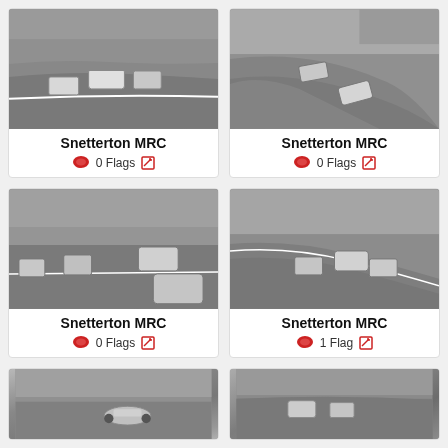[Figure (photo): Black and white photo of racing cars on a track at Snetterton MRC]
Snetterton MRC
0 Flags
[Figure (photo): Black and white photo of racing cars on a curve at Snetterton MRC]
Snetterton MRC
0 Flags
[Figure (photo): Black and white photo of racing cars on a track at Snetterton MRC]
Snetterton MRC
0 Flags
[Figure (photo): Black and white photo of racing cars on a track at Snetterton MRC]
Snetterton MRC
1 Flag
[Figure (photo): Black and white photo of a racing car at Snetterton MRC (partial)]
[Figure (photo): Black and white photo of racing cars at Snetterton MRC (partial)]